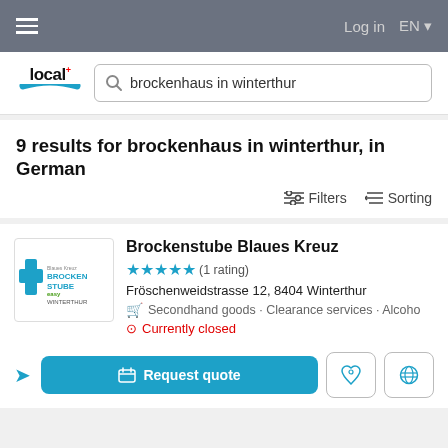☰   Log in   EN
[Figure (logo): local.ch logo with blue bowl shape and search box showing 'brockenhaus in winterthur']
9 results for brockenhaus in winterthur, in German
Filters   Sorting
[Figure (logo): Brockenstube Blaues Kreuz logo - blue cross with BROCKEN STUBE WINTERTHUR text]
Brockenstube Blaues Kreuz
★★★★★ (1 rating)
Fröschenweidstrasse 12, 8404 Winterthur
Secondhand goods · Clearance services · Alcoho
Currently closed
Request quote